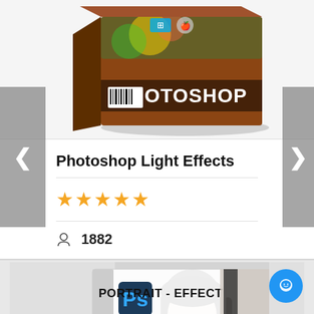[Figure (photo): Photoshop product box with text PHOTOSHOP on brown/orange box art with barcode and colorful design, on white background]
Photoshop Light Effects
[Figure (other): Five gold star rating icons]
1882 students enrolled
[Figure (photo): Portrait Effect Photoshop product box showing a woman with dark hair, PS logo, text PORTRAIT - EFFECT and EDITION on white background]